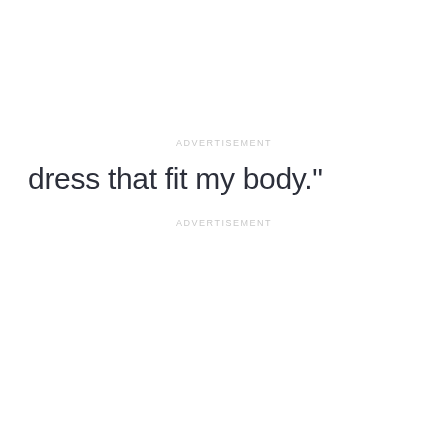ADVERTISEMENT
dress that fit my body."
ADVERTISEMENT